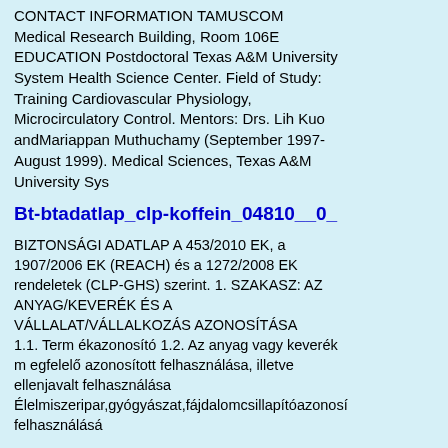CONTACT INFORMATION TAMUSCOM Medical Research Building, Room 106E EDUCATION Postdoctoral Texas A&M University System Health Science Center. Field of Study: Training Cardiovascular Physiology, Microcirculatory Control. Mentors: Drs. Lih Kuo andMariappan Muthuchamy (September 1997-August 1999). Medical Sciences, Texas A&M University Sys
Bt-btadatlap_clp-koffein_04810__0_
BIZTONSÁGI ADATLAP A 453/2010 EK, a 1907/2006 EK (REACH) és a 1272/2008 EK rendeletek (CLP-GHS) szerint. 1. SZAKASZ: AZ ANYAG/KEVERÉK ÉS A VÁLLALAT/VÁLLALKOZÁS AZONOSÍTÁSA 1.1. Term ékazonosító 1.2. Az anyag vagy keverék m egfelelő azonosított felhasználása, illetve ellenjavalt felhasználása Élelmiszeripar,gyógyászat,fájdalomcsillapítóazonosí felhasználásá
A | B | C
| D | E |